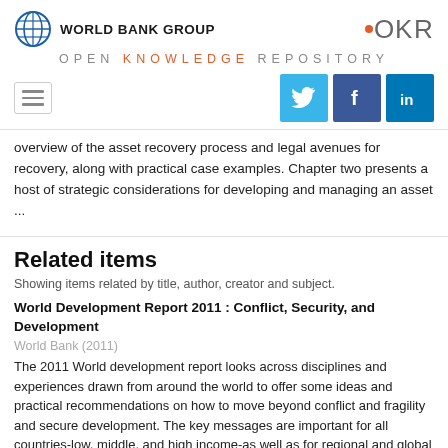[Figure (logo): World Bank Group logo with globe icon and text]
[Figure (logo): OKR logo with orange dot]
OPEN KNOWLEDGE REPOSITORY
[Figure (other): Navigation hamburger menu and social media icons for Twitter, Facebook, LinkedIn]
overview of the asset recovery process and legal avenues for recovery, along with practical case examples. Chapter two presents a host of strategic considerations for developing and managing an asset ...
Related items
Showing items related by title, author, creator and subject.
World Development Report 2011 : Conflict, Security, and Development
World Bank (2011)
The 2011 World development report looks across disciplines and experiences drawn from around the world to offer some ideas and practical recommendations on how to move beyond conflict and fragility and secure development. The key messages are important for all countries-low, middle, and high income-as well as for regional and global ...
World Development Report 2014 : Risk and Opportunity—